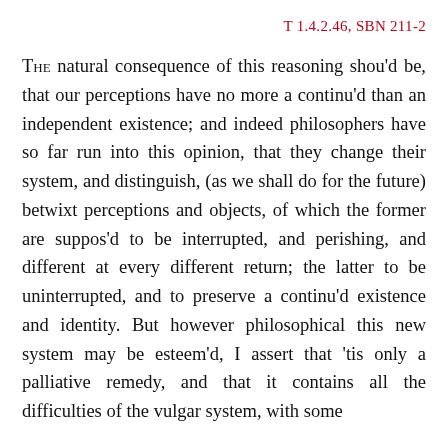T 1.4.2.46, SBN 211-2
The natural consequence of this reasoning shou'd be, that our perceptions have no more a continu'd than an independent existence; and indeed philosophers have so far run into this opinion, that they change their system, and distinguish, (as we shall do for the future) betwixt perceptions and objects, of which the former are suppos'd to be interrupted, and perishing, and different at every different return; the latter to be uninterrupted, and to preserve a continu'd existence and identity. But however philosophical this new system may be esteem'd, I assert that 'tis only a palliative remedy, and that it contains all the difficulties of the vulgar system, with some